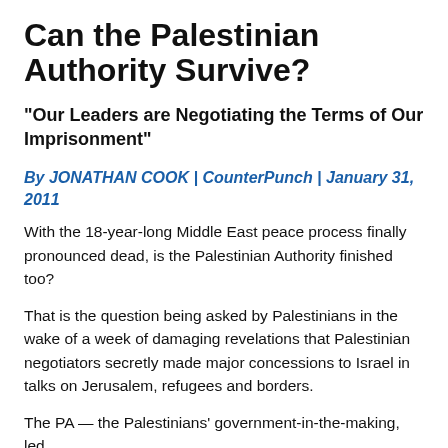Can the Palestinian Authority Survive?
“Our Leaders are Negotiating the Terms of Our Imprisonment”
By JONATHAN COOK | CounterPunch | January 31, 2011
With the 18-year-long Middle East peace process finally pronounced dead, is the Palestinian Authority finished too?
That is the question being asked by Palestinians in the wake of a week of damaging revelations that Palestinian negotiators secretly made major concessions to Israel in talks on Jerusalem, refugees and borders.
The PA — the Palestinians’ government-in-the-making, led